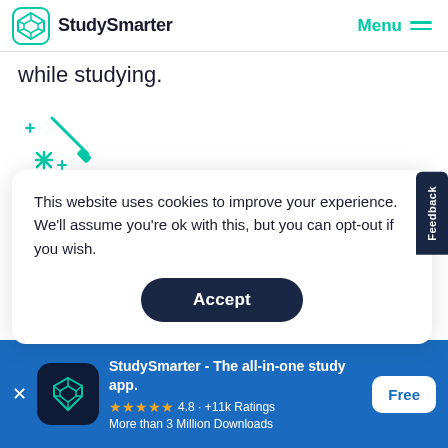StudySmarter  Menu
while studying.
[Figure (illustration): Teal magic wand/sparkle icon with plus signs]
This website uses cookies to improve your experience. We'll assume you're ok with this, but you can opt-out if you wish.
Accept
Feedback
StudySmarter - The all-in-one study app.
4.8 · +11k Ratings
More than 3 Million Downloads
Free